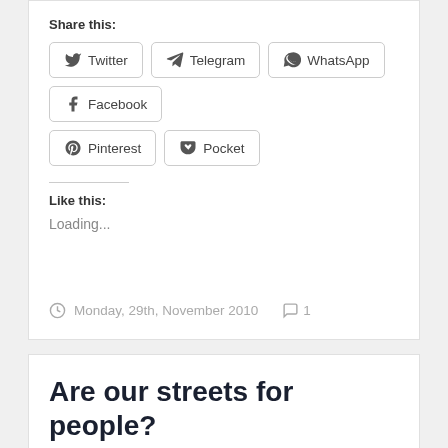Share this:
Twitter  Telegram  WhatsApp  Facebook  Pinterest  Pocket
Like this:
Loading...
Monday, 29th, November 2010   1
Are our streets for people?
Here is a great wee video from Living Streets. It asks